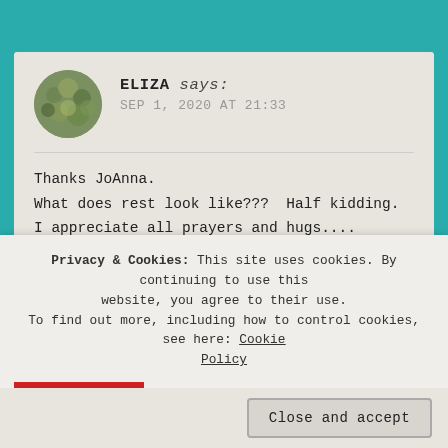ELIZA says: SEP 1, 2020 AT 21:33
Thanks JoAnna.
What does rest look like??? Half kidding.
I appreciate all prayers and hugs.... sending sunshine and sparkles...
★ Liked by 1 person
Privacy & Cookies: This site uses cookies. By continuing to use this website, you agree to their use.
To find out more, including how to control cookies, see here: Cookie Policy
Close and accept